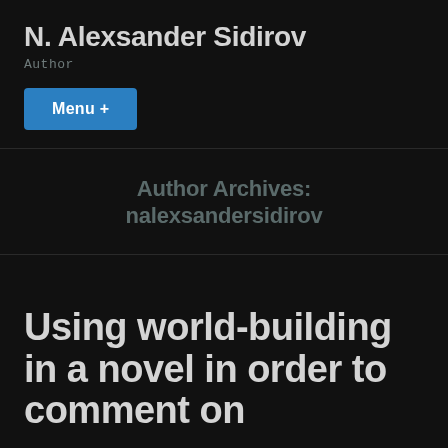N. Alexsander Sidirov
Author
Menu +
Author Archives: nalexsandersidirov
Using world-building in a novel in order to comment on